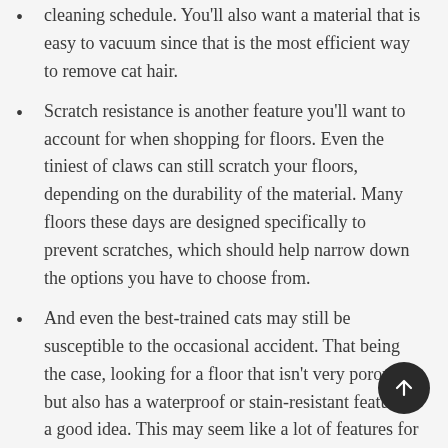cleaning schedule. You'll also want a material that is easy to vacuum since that is the most efficient way to remove cat hair.
Scratch resistance is another feature you'll want to account for when shopping for floors. Even the tiniest of claws can still scratch your floors, depending on the durability of the material. Many floors these days are designed specifically to prevent scratches, which should help narrow down the options you have to choose from.
And even the best-trained cats may still be susceptible to the occasional accident. That being the case, looking for a floor that isn't very porous but also has a waterproof or stain-resistant feature is a good idea. This may seem like a lot of features for one floor, but don't be discouraged. There's still a huge selection of beautiful floors that features everything you need to keep your cat and your home happy. Even some carpets are waterproof